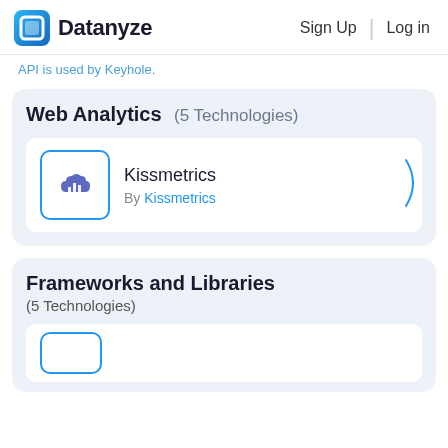Datanyze  Sign Up  Log in
API is used by Keyhole.
Web Analytics  (5 Technologies)
Kissmetrics
By Kissmetrics
Frameworks and Libraries
(5 Technologies)